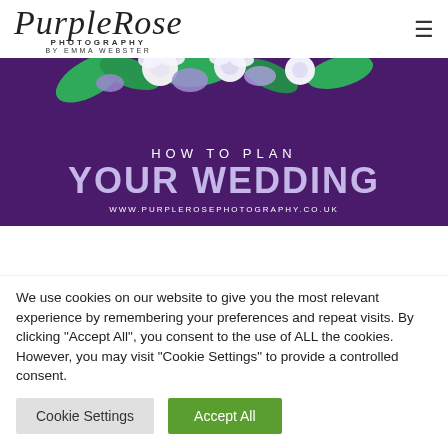PurpleRose Photography by Emma Webster — navigation header with hamburger menu
[Figure (illustration): Purple banner with floral decoration at top (white and blue flowers with green leaves), text 'HOW TO PLAN YOUR WEDDING' and URL www.purplerosephotography.co.uk]
We use cookies on our website to give you the most relevant experience by remembering your preferences and repeat visits. By clicking "Accept All", you consent to the use of ALL the cookies. However, you may visit "Cookie Settings" to provide a controlled consent.
Cookie Settings | Accept All